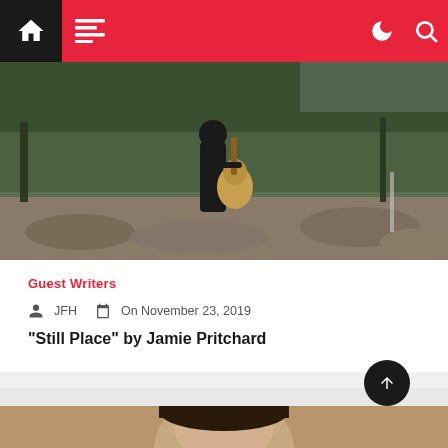Navigation bar with home, menu, dark mode, and search icons
[Figure (photo): Person standing outdoors playing an acoustic guitar near a rocky riverbed with lush green trees in the background]
Guest Writers
JFH  On November 23, 2019
“Still Place” by Jamie Pritchard
[Figure (photo): Partial view of a person's face/head, cropped, at the bottom of the page]